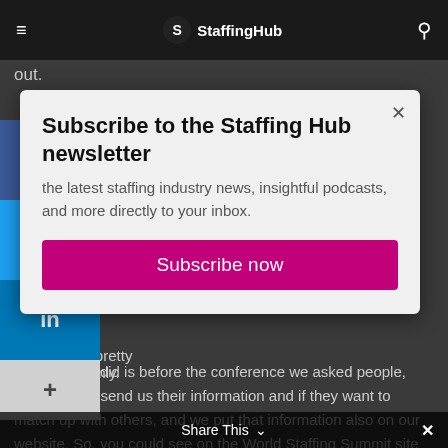StaffingHub
out.
[Figure (screenshot): Social sharing sidebar with Facebook (f), Twitter (bird), LinkedIn (in), and plus (+) buttons]
Subscribe to the Staffing Hub newsletter
the latest staffing industry news, insightful podcasts, and more directly to your inbox.
Subscribe now
ith other participants pretty much randomly.
So, what we did is before the conference we asked people, obviously, to send us their information and if they want to match up with others, and we put that information also on our website. So, you could see on the World Staffing Summit site who is attending, what they are, what they are interested
Share This ∨  ✕